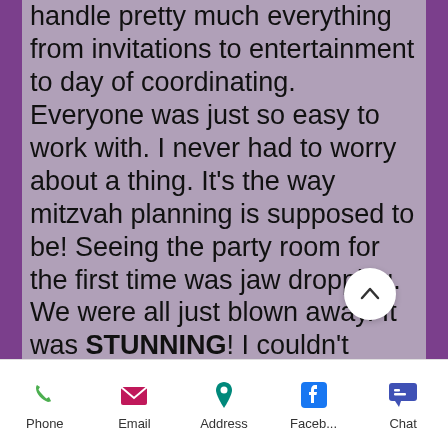BEST!!! That Carolyn and her crew handle pretty much everything from invitations to entertainment to day of coordinating.  Everyone was just so easy to work with. I never had to worry about a thing. It's the way mitzvah planning is supposed to be! Seeing the party room for the first time was jaw dropping. We were all just blown away. It was STUNNING! I couldn't believe it was MY party!  My daughter's b mitzvah was nothing short of amazing thanks to Carolyn and the Creationz Crew!
~ Ricia Lesk
Phone  Email  Address  Faceb...  Chat